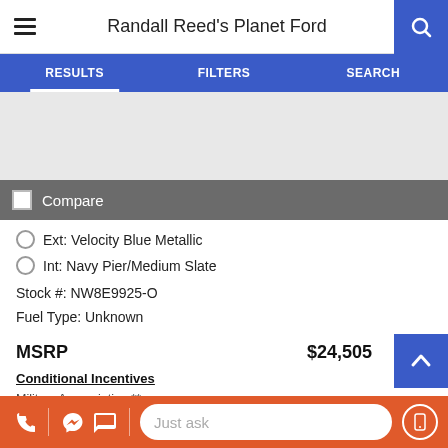Randall Reed's Planet Ford
RESULTS | FILTERS | SEARCH
[Figure (screenshot): Gray image placeholder area for vehicle photo]
Compare
Ext: Velocity Blue Metallic
Int: Navy Pier/Medium Slate
Stock #: NW8E9925-O
Fuel Type: Unknown
MSRP $24,505
Conditional Incentives
Military Appreciation **
First Responder ** $500
Just ask